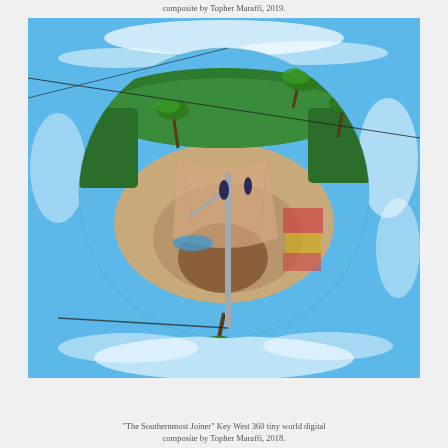composite by Topher Maraffi, 2019.
[Figure (photo): A '360 tiny world' (little planet) digital composite photograph of Key West, showing a spherical projection of an outdoor scene with palm trees, blue sky, clouds, people, and a paved plaza area. The image creates a globe-like spherical appearance with sky wrapping around the bottom and sides.]
"The Southernmost Joiner" Key West 360 tiny world digital composite by Topher Maraffi, 2018.